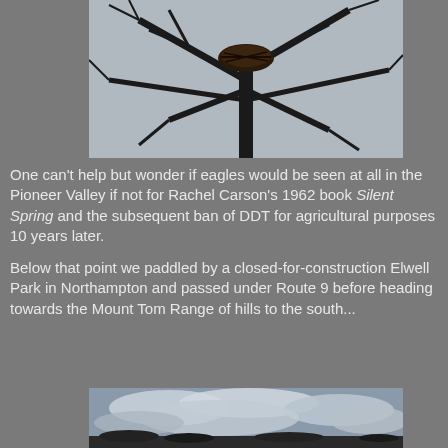[Figure (photo): Black and white photo looking up into bare winter tree branches with a large bird nest (eagle nest) visible at the top, against an overcast sky.]
One can't help but wonder if eagles would be seen at all in the Pioneer Valley if not for Rachel Carson's 1962 book Silent Spring and the subsequent ban of DDT for agricultural purposes 10 years later.
Below that point we paddled by a closed-for-construction Elwell Park in Northampton and passed under Route 9 before heading towards the Mount Tom Range of hills to the south...
[Figure (photo): Landscape photo of a cloudy sky with dramatic cloud formations, with some dark land/treeline visible at the bottom edge.]